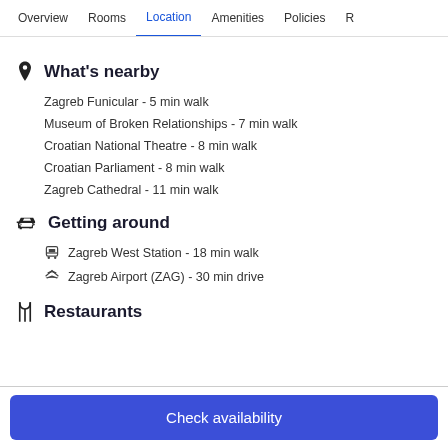Overview | Rooms | Location (active) | Amenities | Policies | R…
What's nearby
Zagreb Funicular - 5 min walk
Museum of Broken Relationships - 7 min walk
Croatian National Theatre - 8 min walk
Croatian Parliament - 8 min walk
Zagreb Cathedral - 11 min walk
Getting around
Zagreb West Station - 18 min walk
Zagreb Airport (ZAG) - 30 min drive
Restaurants
Check availability